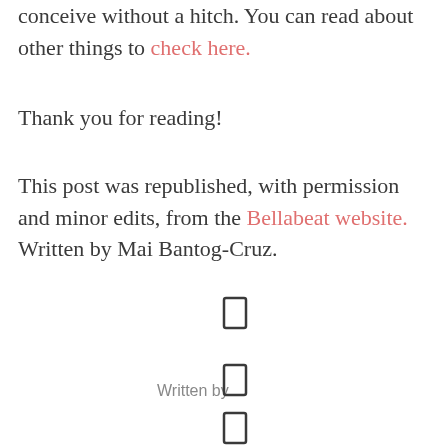conceive without a hitch. You can read about other things to check here.
Thank you for reading!
This post was republished, with permission and minor edits, from the Bellabeat website. Written by Mai Bantog-Cruz.
[Figure (other): Three small rectangle/bookmark icons arranged vertically in the center-right area, with a 'Written by' label to the left of the middle icon]